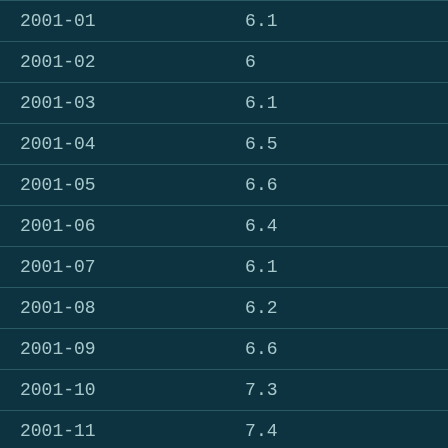| 2001-01 | 6.1 |
| 2001-02 | 6 |
| 2001-03 | 6.1 |
| 2001-04 | 6.5 |
| 2001-05 | 6.6 |
| 2001-06 | 6.4 |
| 2001-07 | 6.1 |
| 2001-08 | 6.2 |
| 2001-09 | 6.6 |
| 2001-10 | 7.3 |
| 2001-11 | 7.4 |